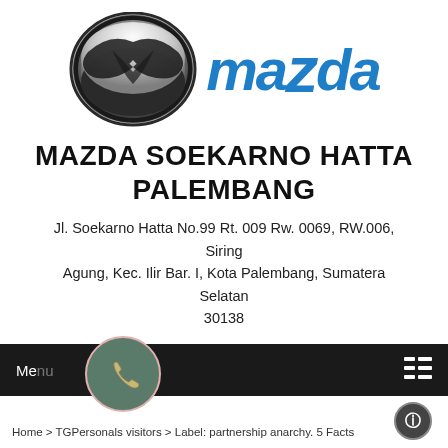[Figure (logo): Mazda logo: chrome winged emblem circle on left, blue italic MAZDA wordmark on right]
MAZDA SOEKARNO HATTA PALEMBANG
Jl. Soekarno Hatta No.99 Rt. 009 Rw. 0069, RW.006, Siring Agung, Kec. Ilir Bar. I, Kota Palembang, Sumatera Selatan 30138
[Figure (screenshot): Black navigation bar with 'Menu' text, phone icon circle overlay, grid icon on right, and breadcrumb: Home > TGPersonals visitors > Label: partnership anarchy. 5 Facts]